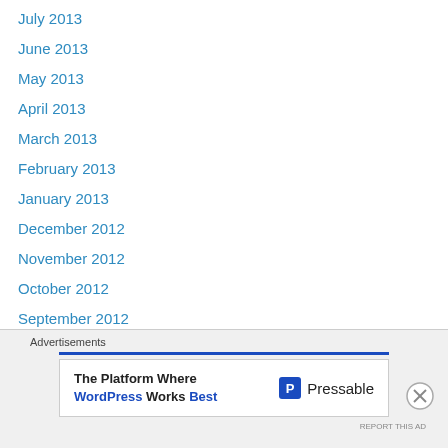July 2013
June 2013
May 2013
April 2013
March 2013
February 2013
January 2013
December 2012
November 2012
October 2012
September 2012
August 2012
July 2012
June 2012
May 2012
April 2012
Advertisements
[Figure (other): Pressable advertisement banner: 'The Platform Where WordPress Works Best' with Pressable logo]